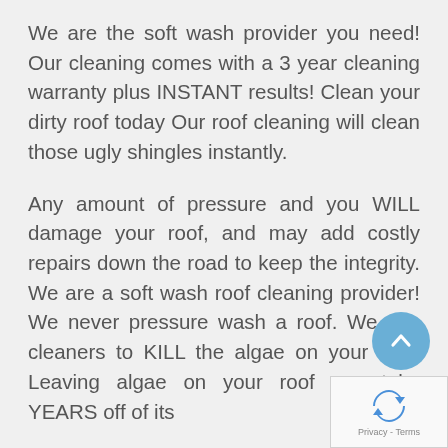We are the soft wash provider you need! Our cleaning comes with a 3 year cleaning warranty plus INSTANT results! Clean your dirty roof today Our roof cleaning will clean those ugly shingles instantly.

Any amount of pressure and you WILL damage your roof, and may add costly repairs down the road to keep the integrity. We are a soft wash roof cleaning provider! We never pressure wash a roof. We use cleaners to KILL the algae on your roof. Leaving algae on your roof can take YEARS off of its
[Figure (other): Blue circular scroll-to-top button with white upward arrow]
[Figure (other): reCAPTCHA widget box with logo and Privacy - Terms text]